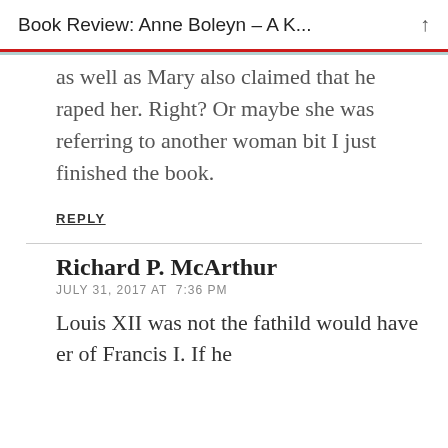Book Review: Anne Boleyn – A K...
as well as Mary also claimed that he raped her. Right? Or maybe she was referring to another woman bit I just finished the book.
REPLY
Richard P. McArthur
JULY 31, 2017 AT  7:36 PM
Louis XII was not the fathild would have er of Francis I. If he